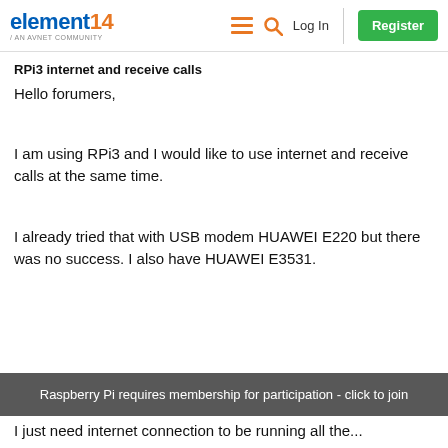element14 / AN AVNET COMMUNITY | Log In | Register
RPi3 internet and receive calls
Hello forumers,
I am using RPi3 and I would like to use internet and receive calls at the same time.
I already tried that with USB modem HUAWEI E220 but there was no success. I also have HUAWEI E3531.
Raspberry Pi requires membership for participation - click to join
I just need internet connection to be running all the...